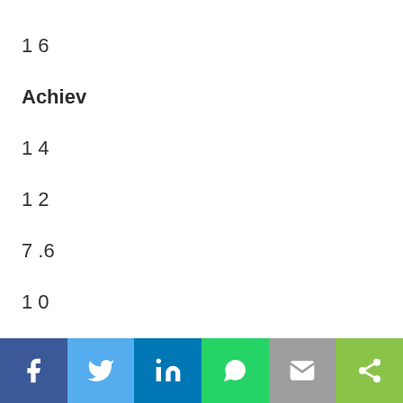1 6
Achiev
1 4
1 2
7 .6
1 0
Percentage
[Figure (infographic): Social share bar with Facebook, Twitter, LinkedIn, WhatsApp, Email, and Share buttons]